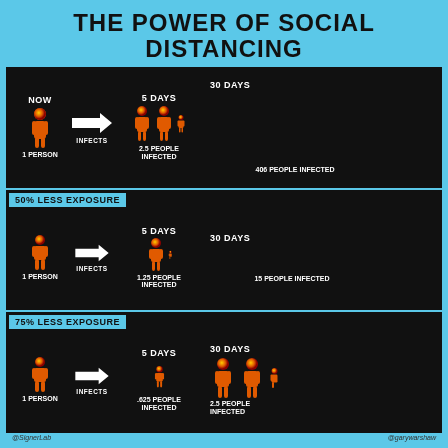THE POWER OF SOCIAL DISTANCING
[Figure (infographic): Panel 1 (No reduction): 1 person infects 2.5 people in 5 days, leading to 406 people infected in 30 days. Panel 2 (50% less exposure): 1 person infects 1.25 people in 5 days, leading to 15 people infected in 30 days. Panel 3 (75% less exposure): 1 person infects .625 people in 5 days, leading to 2.5 people infected in 30 days.]
@SignerLab    @garywarshaw